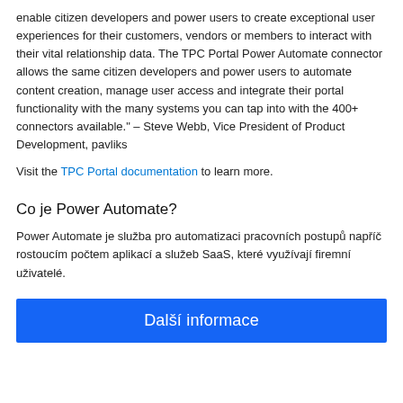enable citizen developers and power users to create exceptional user experiences for their customers, vendors or members to interact with their vital relationship data. The TPC Portal Power Automate connector allows the same citizen developers and power users to automate content creation, manage user access and integrate their portal functionality with the many systems you can tap into with the 400+ connectors available." – Steve Webb, Vice President of Product Development, pavliks
Visit the TPC Portal documentation to learn more.
Co je Power Automate?
Power Automate je služba pro automatizaci pracovních postupů napříč rostoucím počtem aplikací a služeb SaaS, které využívají firemní uživatelé.
Další informace